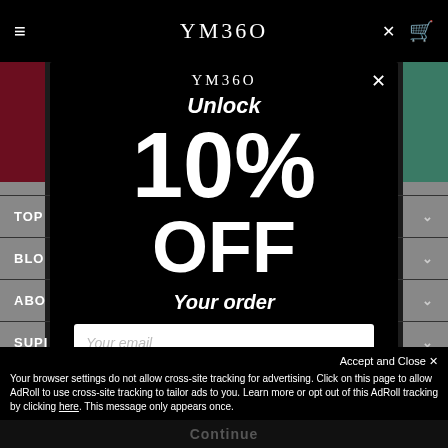YM360
[Figure (screenshot): Website navigation screenshot with dark background showing hamburger menu, YM360 logo, close X and cart icon in top nav bar, with colored product image banners on sides and nav menu items: TOP, BLOC, ABO, SUPI, CON]
[Figure (screenshot): Modal popup on dark background showing YM360 logo and promotional offer]
Unlock
10% OFF
Your order
Your email
Accept and Close ✕
Your browser settings do not allow cross-site tracking for advertising. Click on this page to allow AdRoll to use cross-site tracking to tailor ads to you. Learn more or opt out of this AdRoll tracking by clicking here. This message only appears once.
Continue